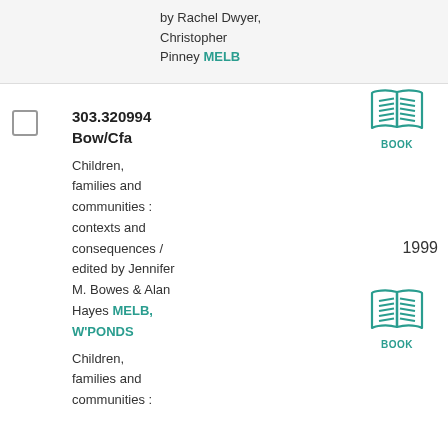by Rachel Dwyer, Christopher Pinney MELB
303.320994 Bow/Cfa
Children, families and communities : contexts and consequences / edited by Jennifer M. Bowes & Alan Hayes MELB, W'PONDS
[Figure (illustration): Teal open book icon with label BOOK]
1999
Children, families and communities :
[Figure (illustration): Teal open book icon with label BOOK]